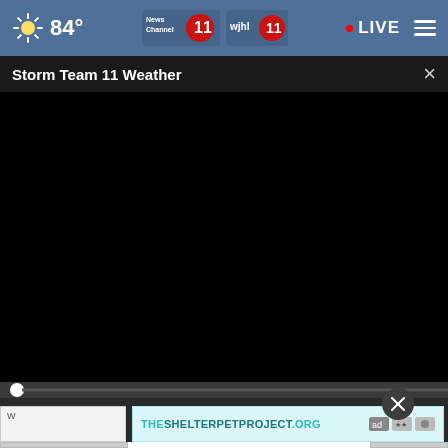84° News Channel 11 wjhl.com 11 • LIVE
Storm Team 11 Weather
[Figure (screenshot): Black video player area showing Storm Team 11 Weather broadcast, currently loading/black screen. Below is a video control bar with play button, mute button, timecode showing 00:00, subtitles and fullscreen icons. A close button and advertisement banner for theshelterpetproject.org appear below.]
THESHELTERPETPROJECT.ORG